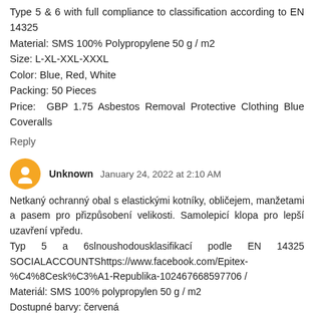Type 5 & 6 with full compliance to classification according to EN 14325
Material: SMS 100% Polypropylene 50 g / m2
Size: L-XL-XXL-XXXL
Color: Blue, Red, White
Packing: 50 Pieces
Price: GBP 1.75 Asbestos Removal Protective Clothing Blue Coveralls
Reply
Unknown  January 24, 2022 at 2:10 AM
Netkaný ochranný obal s elastickými kotníky, obličejem, manžetami a pasem pro přizpůsobení velikosti. Samolepicí klopa pro lepší uzavření vpředu.
Typ 5 a 6slnoushodousklasifikací podle EN 14325 SOCIALACCOUNTShttps://www.facebook.com/Epitex-%C4%8Cesk%C3%A1-Republika-102467668597706 /
Materiál: SMS 100% polypropylen 50 g / m2
Dostupné barvy: červená
Velikost: XL-XXL
Balení: 50 kusů / pouzdro